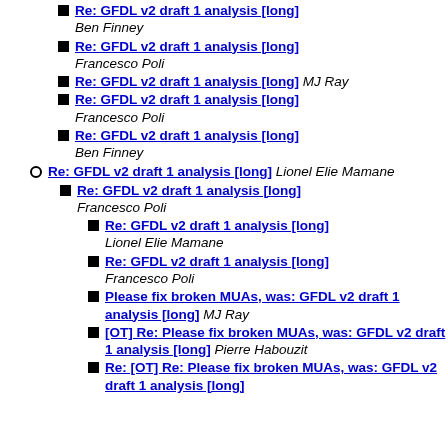Re: GFDL v2 draft 1 analysis [long] Ben Finney
Re: GFDL v2 draft 1 analysis [long] Francesco Poli
Re: GFDL v2 draft 1 analysis [long] MJ Ray
Re: GFDL v2 draft 1 analysis [long] Francesco Poli
Re: GFDL v2 draft 1 analysis [long] Ben Finney
Re: GFDL v2 draft 1 analysis [long] Lionel Elie Mamane
Re: GFDL v2 draft 1 analysis [long] Francesco Poli
Re: GFDL v2 draft 1 analysis [long] Lionel Elie Mamane
Re: GFDL v2 draft 1 analysis [long] Francesco Poli
Please fix broken MUAs, was: GFDL v2 draft 1 analysis [long] MJ Ray
[OT] Re: Please fix broken MUAs, was: GFDL v2 draft 1 analysis [long] Pierre Habouzit
Re: [OT] Re: Please fix broken MUAs, was: GFDL v2 draft 1 analysis [long]